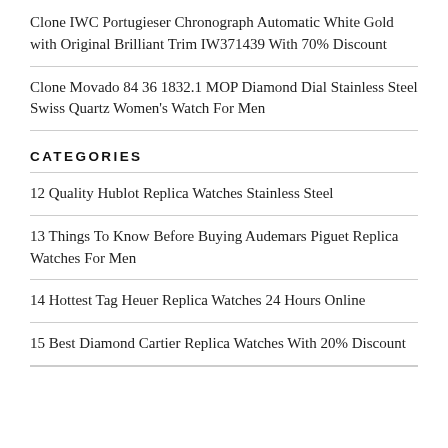Clone IWC Portugieser Chronograph Automatic White Gold with Original Brilliant Trim IW371439 With 70% Discount
Clone Movado 84 36 1832.1 MOP Diamond Dial Stainless Steel Swiss Quartz Women's Watch For Men
CATEGORIES
12 Quality Hublot Replica Watches Stainless Steel
13 Things To Know Before Buying Audemars Piguet Replica Watches For Men
14 Hottest Tag Heuer Replica Watches 24 Hours Online
15 Best Diamond Cartier Replica Watches With 20% Discount